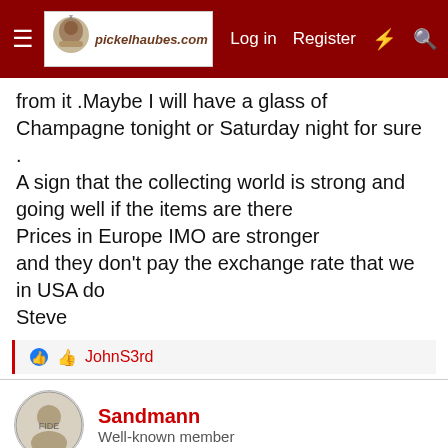pickelhaubes.com — Log in | Register
from it .Maybe I will have a glass of Champagne tonight or Saturday night for sure .
A sign that the collecting world is strong and going well if the items are there
Prices in Europe IMO are stronger
and they don't pay the exchange rate that we in USA do
Steve
JohnS3rd
Sandmann
Well-known member
May 20, 2022  #104
Collecting is not regulated, everybody should do it in their own way. Whether you enjoy bargain hunting or collecting high-priced items, it's important that you follow your passion and